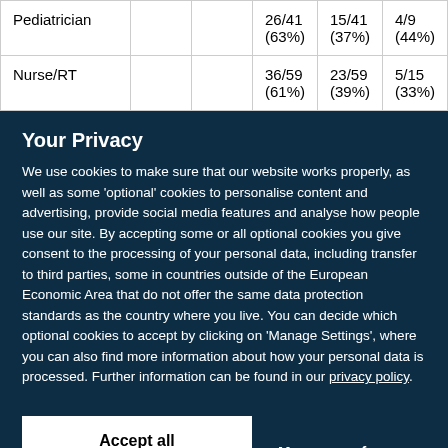| Pediatrician |  |  | 26/41 (63%) | 15/41 (37%) | 4/9 (44%) |
| Nurse/RT |  |  | 36/59 (61%) | 23/59 (39%) | 5/15 (33%) |
Your Privacy
We use cookies to make sure that our website works properly, as well as some 'optional' cookies to personalise content and advertising, provide social media features and analyse how people use our site. By accepting some or all optional cookies you give consent to the processing of your personal data, including transfer to third parties, some in countries outside of the European Economic Area that do not offer the same data protection standards as the country where you live. You can decide which optional cookies to accept by clicking on 'Manage Settings', where you can also find more information about how your personal data is processed. Further information can be found in our privacy policy.
Accept all cookies
Manage preferences